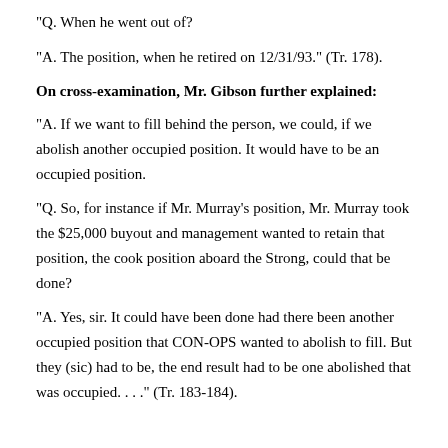"Q. When he went out of?
"A. The position, when he retired on 12/31/93." (Tr. 178).
On cross-examination, Mr. Gibson further explained:
"A. If we want to fill behind the person, we could, if we abolish another occupied position. It would have to be an occupied position.
"Q. So, for instance if Mr. Murray's position, Mr. Murray took the $25,000 buyout and management wanted to retain that position, the cook position aboard the Strong, could that be done?
"A. Yes, sir. It could have been done had there been another occupied position that CON-OPS wanted to abolish to fill. But they (sic) had to be, the end result had to be one abolished that was occupied. . . ." (Tr. 183-184).